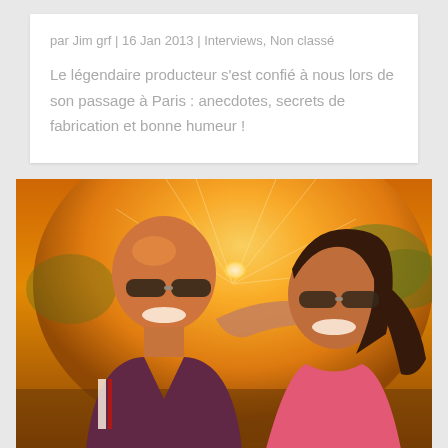par Jim grf | 16 Jan 2013 | Interviews, Non classé
Le légendaire producteur s'est confié à nous lors de son passage à Paris : anecdotes, secrets de fabrication et bonne humeur !
[Figure (photo): Two people smiling and laughing outdoors in warm golden sunset light. A bald man wearing sunglasses and a dark sports jersey has his arm around a woman with long dark hair and sunglasses wearing a pink top. Bright sun rays visible in background.]